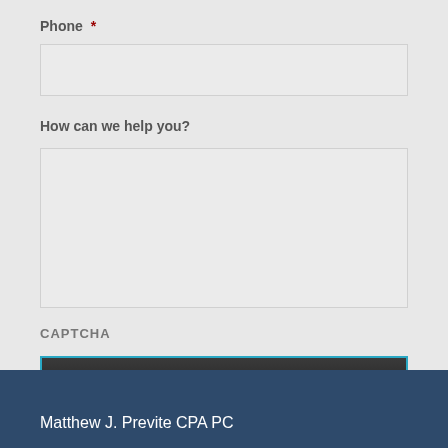Phone *
How can we help you?
CAPTCHA
SUBMIT
Matthew J. Previte CPA PC